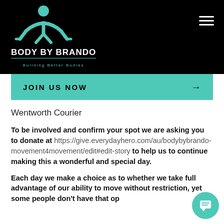[Figure (logo): Body By Brando logo — teal figure in push-up pose above text BODY BY BRANDO Building Better Bodies on black background]
[Figure (other): Hamburger menu icon (three white horizontal lines) in top-right corner on black background]
[Figure (other): Teal JOIN US NOW call-to-action banner with arrow]
Wentworth Courier
To be involved and confirm your spot we are asking you to donate at https://give.everydayhero.com/au/bodybybrando-movement4movement/edit#edit-story to help us to continue making this a wonderful and special day.
Each day we make a choice as to whether we take full advantage of our ability to move without restriction, yet some people don't have that op